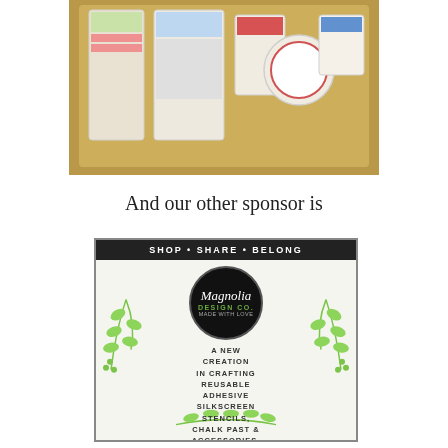[Figure (photo): Photo of craft/scrapbooking supply packages with Christmas/holiday themed washi tape, stickers, and embellishments in a basket]
And our other sponsor is
[Figure (logo): Magnolia Design Co. advertisement banner with black header reading SHOP • SHARE • BELONG, circular black logo with Magnolia Design Co. branding, green leaf/olive branch botanical illustrations, and text reading A NEW CREATION IN CRAFTING REUSABLE ADHESIVE SILKSCREEN STENCILS, CHALK PAST & ACCESSORIES. with URL LIL MAGNOLIADESIGNCO.SHOP]